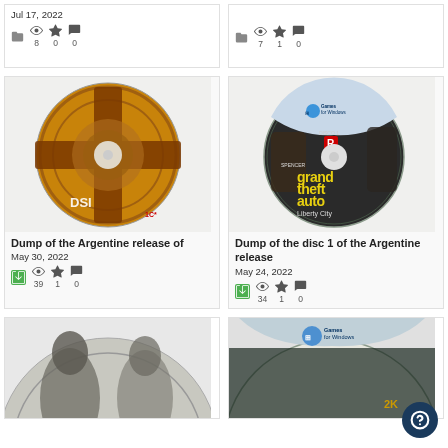Jul 17, 2022
8  0  0
7  1  0
[Figure (photo): CD disc with golden cross design - Argentine release]
Dump of the Argentine release of
May 30, 2022
39  1  0
[Figure (photo): GTA Grand Theft Auto Liberty City disc 1 - Games for Windows - Argentine release]
Dump of the disc 1 of the Argentine release
May 24, 2022
34  1  0
[Figure (photo): Game disc - partial view at bottom left]
[Figure (photo): Games for Windows disc - 2K games - partial view at bottom right]